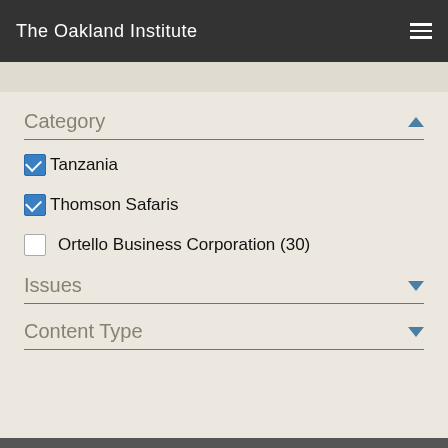The Oakland Institute
Category
Tanzania (checked)
Thomson Safaris (checked)
Ortello Business Corporation (30) (unchecked)
Issues
Content Type